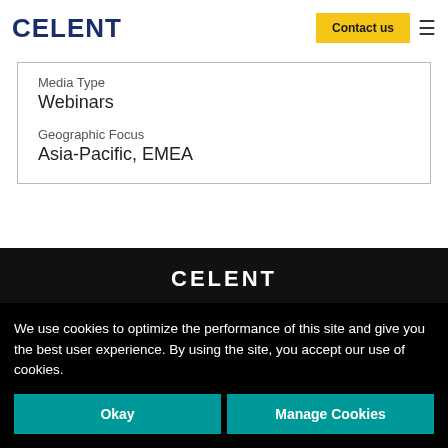CELENT
Media Type
Webinars
Geographic Focus
Asia-Pacific, EMEA
CELENT
We use cookies to optimize the performance of this site and give you the best user experience. By using the site, you accept our use of cookies.
Okay | Manage Cookies